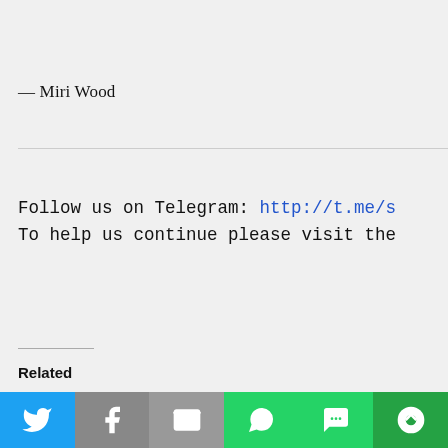— Miri Wood
Follow us on Telegram: http://t.me/s…
To help us continue please visit the…
Related
[Figure (other): Social sharing bar with Twitter, Facebook, Email, WhatsApp, SMS, and More buttons]